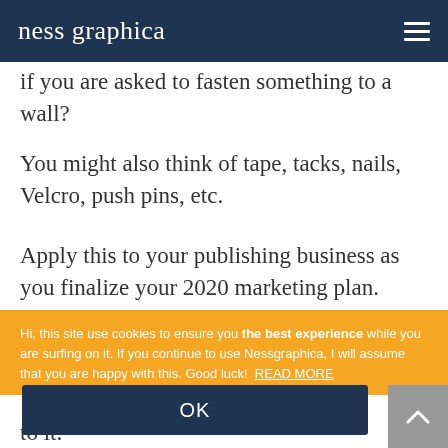ness graphica
if you are asked to fasten something to a wall?
You might also think of tape, tacks, nails, Velcro, push pins, etc.
Apply this to your publishing business as you finalize your 2020 marketing plan. Write your goals differently to find new ways to reach them.
Hi, this site use cookies to ensure you the best experience while you are surfing on it. If you continue to use Nessgraphica, I will assume that you are happy with this. Good luck! READ MORE
OK
to it.